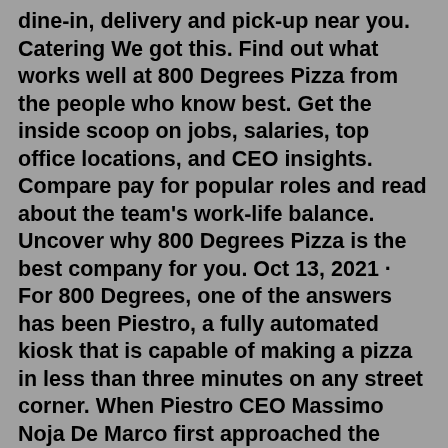dine-in, delivery and pick-up near you. Catering We got this. Find out what works well at 800 Degrees Pizza from the people who know best. Get the inside scoop on jobs, salaries, top office locations, and CEO insights. Compare pay for popular roles and read about the team's work-life balance. Uncover why 800 Degrees Pizza is the best company for you. Oct 13, 2021 · For 800 Degrees, one of the answers has been Piestro, a fully automated kiosk that is capable of making a pizza in less than three minutes on any street corner. When Piestro CEO Massimo Noja De Marco first approached the pizza brand, the restaurant wasn't too interested after seeing less-than-stellar results from other products on the market. Taste the magic of woodfire! Woodfired Pizza, Rotisserie Chicken, and more - using only quality and halal-certified ingredients.800 Degrees Pizza serves top-quality, chef-driven offerings with an American heart and Italian soul. Creator and founder, Chef Anthony Carron, formerly of the Michael Mina Group, brings more than 30 years of